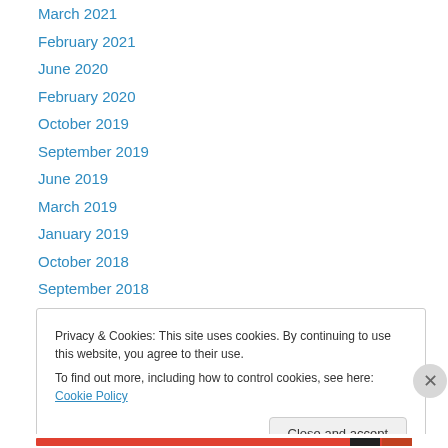March 2021
February 2021
June 2020
February 2020
October 2019
September 2019
June 2019
March 2019
January 2019
October 2018
September 2018
May 2018
April 2018
Privacy & Cookies: This site uses cookies. By continuing to use this website, you agree to their use.
To find out more, including how to control cookies, see here: Cookie Policy
Close and accept